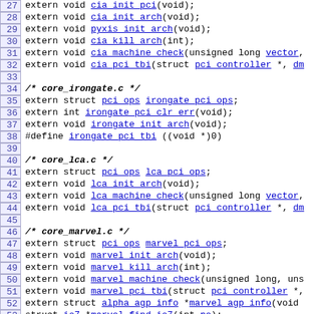Source code listing lines 27-56 showing C header declarations for CIA, irongate, LCA, and marvel core functions
27: extern void cia_init_pci(void);
28: extern void cia_init_arch(void);
29: extern void pyxis_init_arch(void);
30: extern void cia_kill_arch(int);
31: extern void cia_machine_check(unsigned long vector,
32: extern void cia_pci_tbi(struct pci_controller *, dm
33: (empty)
34: /* core_irongate.c */
35: extern struct pci_ops irongate_pci_ops;
36: extern int irongate_pci_clr_err(void);
37: extern void irongate_init_arch(void);
38: #define irongate_pci_tbi ((void *)0)
39: (empty)
40: /* core_lca.c */
41: extern struct pci_ops lca_pci_ops;
42: extern void lca_init_arch(void);
43: extern void lca_machine_check(unsigned long vector,
44: extern void lca_pci_tbi(struct pci_controller *, dm
45: (empty)
46: /* core_marvel.c */
47: extern struct pci_ops marvel_pci_ops;
48: extern void marvel_init_arch(void);
49: extern void marvel_kill_arch(int);
50: extern void marvel_machine_check(unsigned long, uns
51: extern void marvel_pci_tbi(struct pci_controller *,
52: extern struct alpha_agp_info *marvel_agp_info(void
53: struct io7 *marvel_find_io7(int pe);
54: struct io7 *marvel_next_io7(struct io7 *prev);
55: void io7_clear_errors(struct io7 *io7);
56: (empty)